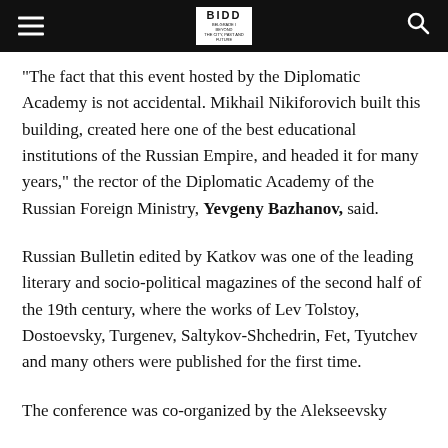[Figure (logo): Website header bar with hamburger menu icon on left, BIDD logo in center, and search icon on right, all on black background]
“The fact that this event hosted by the Diplomatic Academy is not accidental. Mikhail Nikiforovich built this building, created here one of the best educational institutions of the Russian Empire, and headed it for many years,” the rector of the Diplomatic Academy of the Russian Foreign Ministry, Yevgeny Bazhanov, said.
Russian Bulletin edited by Katkov was one of the leading literary and socio-political magazines of the second half of the 19th century, where the works of Lev Tolstoy, Dostoevsky, Turgenev, Saltykov-Shchedrin, Fet, Tyutchev and many others were published for the first time.
The conference was co-organized by the Alekseevsky